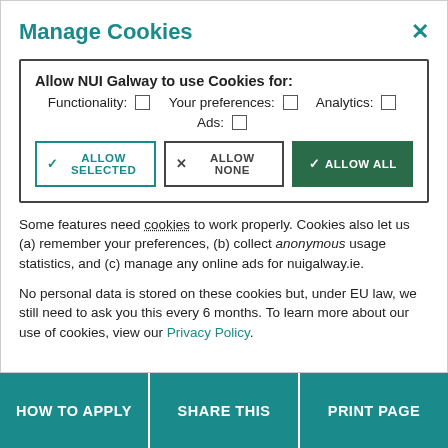Manage Cookies
Allow NUI Galway to use Cookies for: Functionality: □  Your preferences: □  Analytics: □  Ads: □
Some features need cookies to work properly. Cookies also let us (a) remember your preferences, (b) collect anonymous usage statistics, and (c) manage any online ads for nuigalway.ie.
No personal data is stored on these cookies but, under EU law, we still need to ask you this every 6 months. To learn more about our use of cookies, view our Privacy Policy.
HOW TO APPLY   SHARE THIS   PRINT PAGE